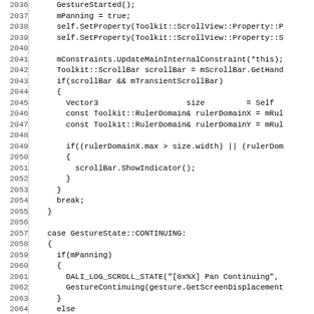[Figure (screenshot): Source code listing showing C++ code for gesture handling in a ScrollView, lines 2036-2067+, with line numbers on the left and code on the right in monospace font.]